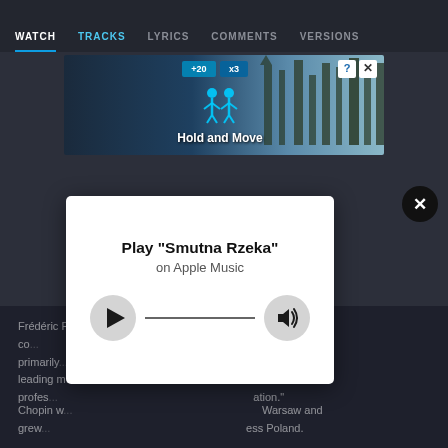WATCH | TRACKS | LYRICS | COMMENTS | VERSIONS
[Figure (screenshot): Advertisement banner showing a mobile game 'Hold and Move' with two character figures and score displays against a forest background]
Frédéric F... was a Polish co... who wrote primarily ... as a leading m... based on a profess... ation.
Chopin w... Warsaw and grew... ess Poland. H...
[Figure (screenshot): Apple Music play modal dialog with play button, progress bar, and volume button showing 'Play "Smutna Rzeka" on Apple Music']